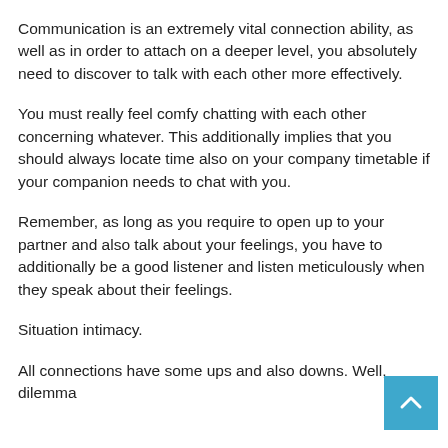Communication is an extremely vital connection ability, as well as in order to attach on a deeper level, you absolutely need to discover to talk with each other more effectively.
You must really feel comfy chatting with each other concerning whatever. This additionally implies that you should always locate time also on your company timetable if your companion needs to chat with you.
Remember, as long as you require to open up to your partner and also talk about your feelings, you have to additionally be a good listener and listen meticulously when they speak about their feelings.
Situation intimacy.
All connections have some ups and also downs. Well, dilemma